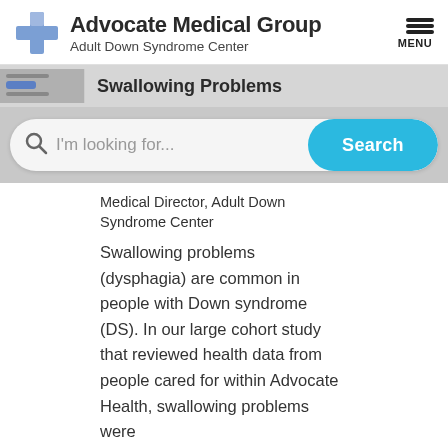[Figure (logo): Advocate Medical Group logo with blue cross and text, Adult Down Syndrome Center subtitle]
Swallowing Problems
[Figure (screenshot): Search bar with magnifying glass icon, placeholder text 'I'm looking for...' and a cyan Search button]
Medical Director, Adult Down Syndrome Center
Swallowing problems (dysphagia) are common in people with Down syndrome (DS). In our large cohort study that reviewed health data from people cared for within Advocate Health, swallowing problems were